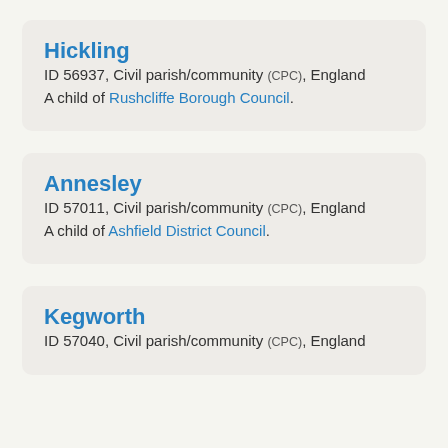Hickling
ID 56937, Civil parish/community (CPC), England
A child of Rushcliffe Borough Council.
Annesley
ID 57011, Civil parish/community (CPC), England
A child of Ashfield District Council.
Kegworth
ID 57040, Civil parish/community (CPC), England